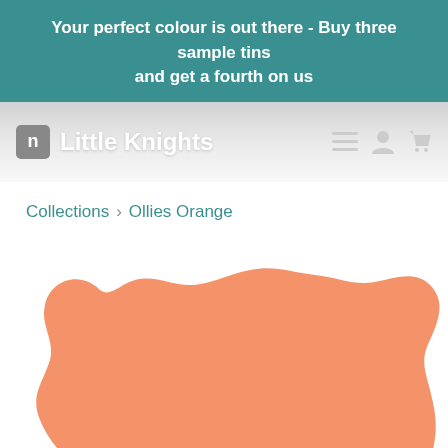Your perfect colour is out there - Buy three sample tins and get a fourth on us
[Figure (logo): Little Knights paint brand logo with navigation icons (hamburger menu, user, cart)]
Collections › Ollies Orange
[Figure (illustration): Large orange paint swatch blob in Ollies Orange colour (#F4936A), partially cropped at bottom]